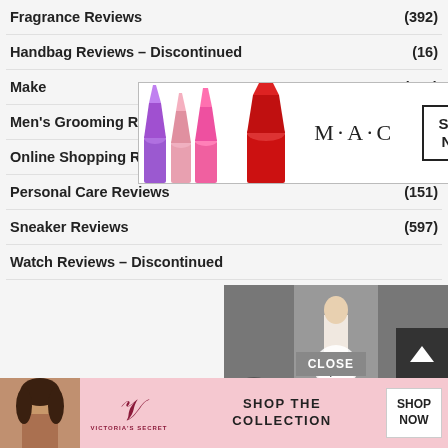Fragrance Reviews (392)
Handbag Reviews – Discontinued (16)
[Figure (photo): MAC Cosmetics advertisement banner showing colorful lipsticks and SHOP NOW button]
Makeup Reviews (289)
Men's Grooming Reviews (116)
Online Shopping Reviews (141)
Personal Care Reviews (151)
Sneaker Reviews (597)
Watch Reviews – Discontinued
[Figure (photo): Fashion runway video with play button overlay showing model in white dress]
[Figure (photo): BuzzFeed article card: 37 Home And Kitchen Items Everyone Should Own with teal badge showing 22 words]
[Figure (photo): Victoria's Secret advertisement with model, logo, SHOP THE COLLECTION text and SHOP NOW button]